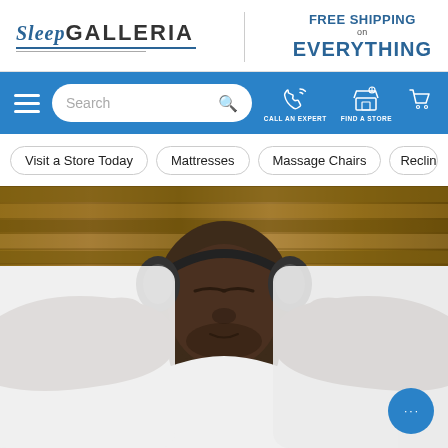[Figure (logo): Sleep Galleria logo with italic blue 'Sleep' and bold 'Galleria' text, with underline]
FREE SHIPPING on EVERYTHING
[Figure (screenshot): Navigation bar with hamburger menu, search box, phone/call an expert icon, find a store icon, and shopping cart icon on blue background]
Visit a Store Today
Mattresses
Massage Chairs
Recliner
[Figure (photo): Man lying in bed wearing headphones with eyes closed, arms behind head, wearing white t-shirt against white bedding and wooden headboard background]